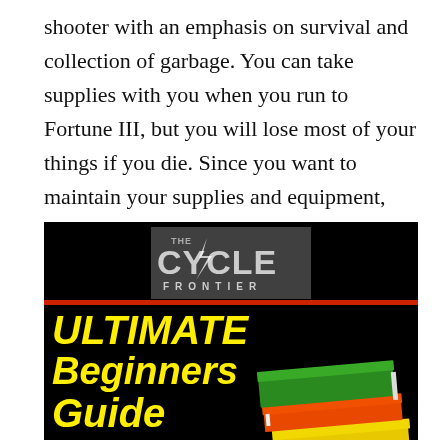shooter with an emphasis on survival and collection of garbage. You can take supplies with you when you run to Fortune III, but you will lose most of your things if you die. Since you want to maintain your supplies and equipment, you can ask if you can also divide your things in The Cycle: Frontier.
[Figure (illustration): The Cycle: Frontier game logo on black background with red divider, and below it yellow italic bold text reading 'ULTIMATE Beginners Guide' with a stack of colorful books on the right side.]